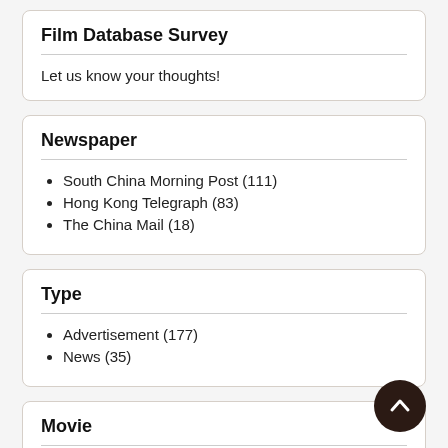Film Database Survey
Let us know your thoughts!
Newspaper
South China Morning Post (111)
Hong Kong Telegraph (83)
The China Mail (18)
Type
Advertisement (177)
News (35)
Movie
Show all (7823)
Comic films (806)
British Gazette (453)
Pathe Gazette (346)